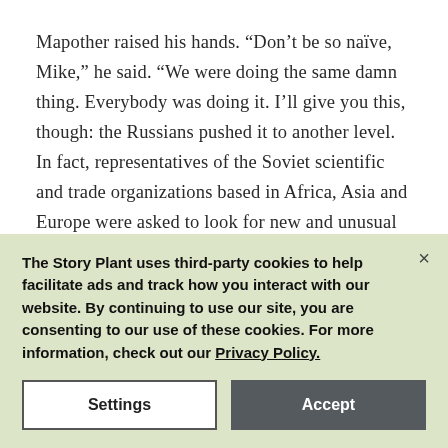Mapother raised his hands. “Don’t be so naïve, Mike,” he said. “We were doing the same damn thing. Everybody was doing it. I’ll give you this, though: the Russians pushed it to another level. In fact, representatives of the Soviet scientific and trade organizations based in Africa, Asia and Europe were asked to look for new and unusual diseases.”
The Story Plant uses third-party cookies to help facilitate ads and track how you interact with our website. By continuing to use our site, you are consenting to our use of these cookies. For more information, check out our Privacy Policy.